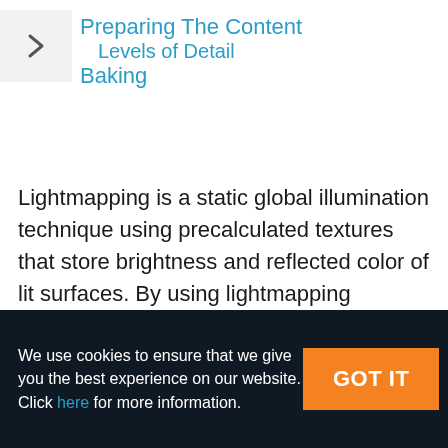Preparing The Content
Levels of Detail
Baking
Lightmapping is a static global illumination technique using precalculated textures that store brightness and reflected color of lit surfaces. By using lightmapping
We use cookies to ensure that we give you the best experience on our website. Click here for more information.